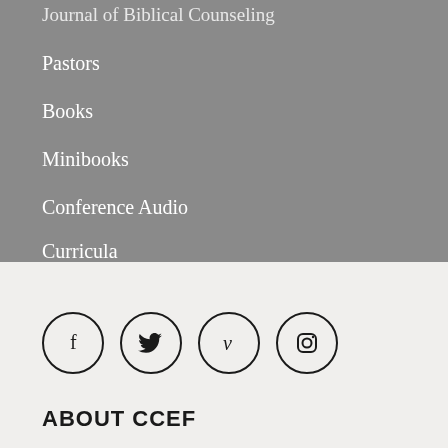Journal of Biblical Counseling
Pastors
Books
Minibooks
Conference Audio
Curricula
[Figure (illustration): Four social media icons in circles: Facebook (f), Twitter (bird), Vimeo (v), Instagram (camera)]
ABOUT CCEF